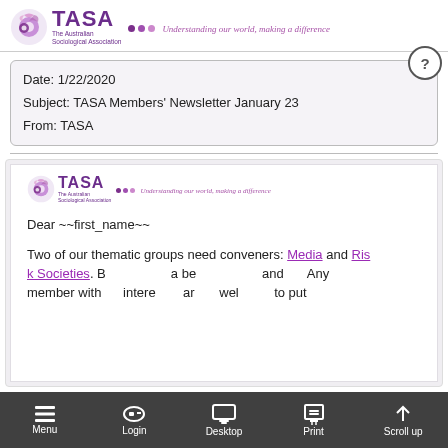TASA The Australian Sociological Association • • • Understanding our world, making a difference
Date: 1/22/2020
Subject: TASA Members' Newsletter January 23
From: TASA
[Figure (screenshot): TASA newsletter email preview showing the TASA logo header and beginning of newsletter body with 'Dear ~~first_name~~' greeting and beginning of body text about thematic groups needing conveners: Media and Risk Societies.]
Menu   Login   Desktop   Print   Scroll up